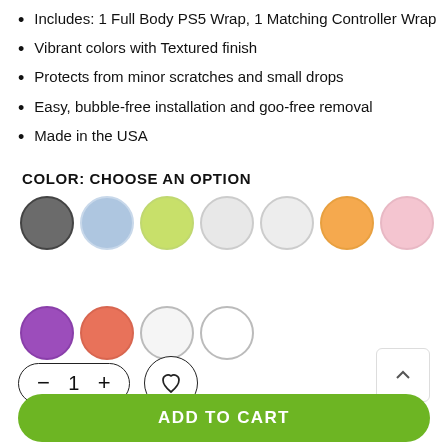Includes: 1 Full Body PS5 Wrap, 1 Matching Controller Wrap
Vibrant colors with Textured finish
Protects from minor scratches and small drops
Easy, bubble-free installation and goo-free removal
Made in the USA
COLOR: CHOOSE AN OPTION
[Figure (other): Color swatch selector with 11 circles: dark gray (selected), light blue, yellow-green, light gray, lighter gray, orange, pink, purple, coral/red-orange, white (outlined), white (outlined)]
[Figure (other): Add to cart UI: quantity stepper (- 1 +), heart/wishlist button, scroll-up button, and green ADD TO CART button]